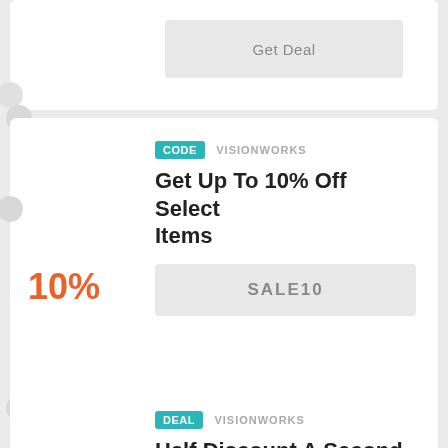Get Deal
10%
CODE VISIONWORKS
Get Up To 10% Off Select Items
SALE10
Sales
DEAL VISIONWORKS
Half Discount A Second Pair Of Prescription Glasses Or Prescription Sunglasses
Get Deal